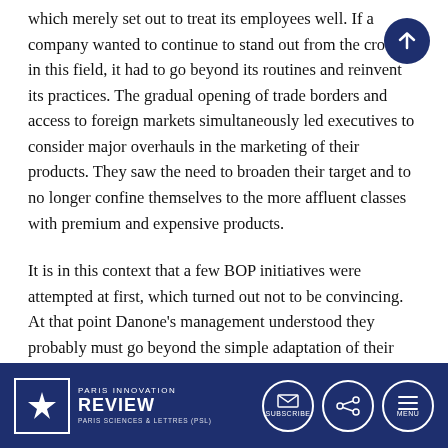which merely set out to treat its employees well. If a company wanted to continue to stand out from the crowd in this field, it had to go beyond its routines and reinvent its practices. The gradual opening of trade borders and access to foreign markets simultaneously led executives to consider major overhauls in the marketing of their products. They saw the need to broaden their target and to no longer confine themselves to the more affluent classes with premium and expensive products.
It is in this context that a few BOP initiatives were attempted at first, which turned out not to be convincing. At that point Danone's management understood they probably must go beyond the simple adaptation of their products; and social business, which primarily targets the poorest classes, seemed likely to yield disruptive innovations in this direction, even if this meant they had to climb their way upwards inside the pyramid at a later point. Indeed, it induced very strong constraints (very low cost
PARIS INNOVATION REVIEW  PARIS SCIENCES & LETTRES (PSL)  SUBSCRIBE  MENU